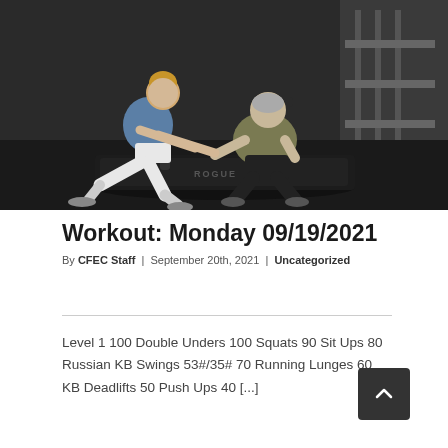[Figure (photo): Two people working out in a gym with a Rogue sled. A woman in a blue tank top and white shorts is in a lunge position pushing a sled, while an older man in an olive shirt and black shorts squats behind it. Gym equipment is visible in the background.]
Workout: Monday 09/19/2021
By CFEC Staff | September 20th, 2021 | Uncategorized
Level 1 100 Double Unders 100 Squats 90 Sit Ups 80 Russian KB Swings 53#/35# 70 Running Lunges 60 KB Deadlifts 50 Push Ups 40 [...]